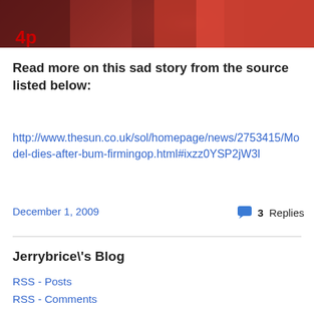[Figure (photo): Partial photo of a woman in a red dress with an AP logo visible in the lower left corner]
Read more on this sad story from the source listed below:
http://www.thesun.co.uk/sol/homepage/news/2753415/Model-dies-after-bum-firmingop.html#ixzz0YSP2jW3l
December 1, 2009
3 Replies
Jerrybrice\'s Blog
RSS - Posts
RSS - Comments